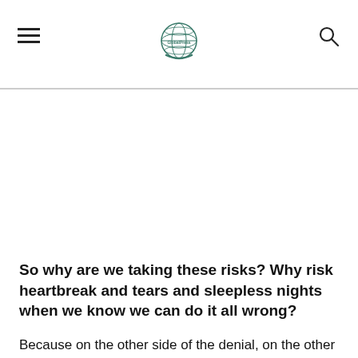[Logo: GlobalPress]
So why are we taking these risks? Why risk heartbreak and tears and sleepless nights when we know we can do it all wrong?
Because on the other side of the denial, on the other side of this moment one wonders if one should say something, there